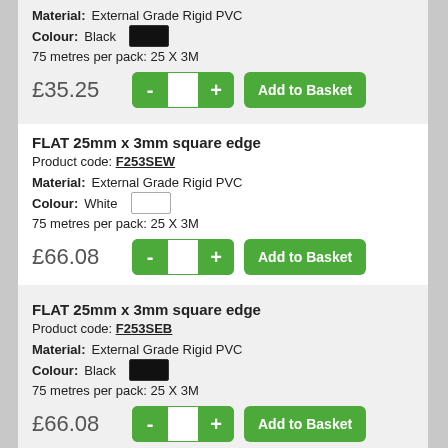Material: External Grade Rigid PVC
Colour: Black
75 metres per pack: 25 X 3M
£35.25
FLAT 25mm x 3mm square edge
Product code: F253SEW
Material: External Grade Rigid PVC
Colour: White
75 metres per pack: 25 X 3M
£66.08
FLAT 25mm x 3mm square edge
Product code: F253SEB
Material: External Grade Rigid PVC
Colour: Black
75 metres per pack: 25 X 3M
£66.08
FLAT 25mm x 6mm square edge